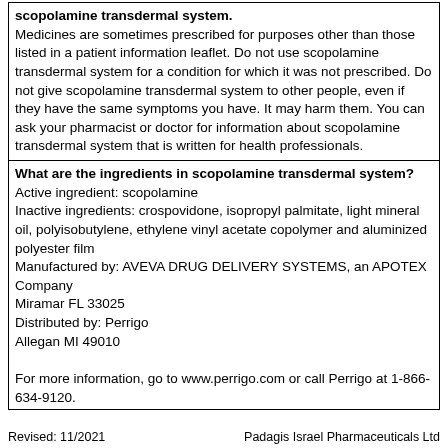scopolamine transdermal system. Medicines are sometimes prescribed for purposes other than those listed in a patient information leaflet. Do not use scopolamine transdermal system for a condition for which it was not prescribed. Do not give scopolamine transdermal system to other people, even if they have the same symptoms you have. It may harm them. You can ask your pharmacist or doctor for information about scopolamine transdermal system that is written for health professionals.
What are the ingredients in scopolamine transdermal system?
Active ingredient: scopolamine
Inactive ingredients: crospovidone, isopropyl palmitate, light mineral oil, polyisobutylene, ethylene vinyl acetate copolymer and aluminized polyester film
Manufactured by: AVEVA DRUG DELIVERY SYSTEMS, an APOTEX Company
Miramar FL 33025
Distributed by: Perrigo
Allegan MI 49010

For more information, go to www.perrigo.com or call Perrigo at 1-866-634-9120.
Revised: 11/2021                    Padagis Israel Pharmaceuticals Ltd